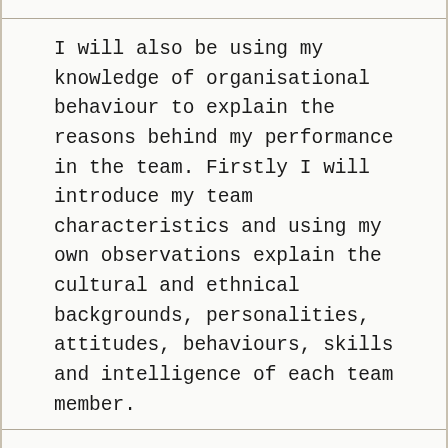I will also be using my knowledge of organisational behaviour to explain the reasons behind my performance in the team. Firstly I will introduce my team characteristics and using my own observations explain the cultural and ethnical backgrounds, personalities, attitudes, behaviours, skills and intelligence of each team member.
The team members were chosen randomly by the seminar teacher, each team member did not know each other before except me and Anthony, I was familiar with Anthony as we had talked occasionally in the university before.